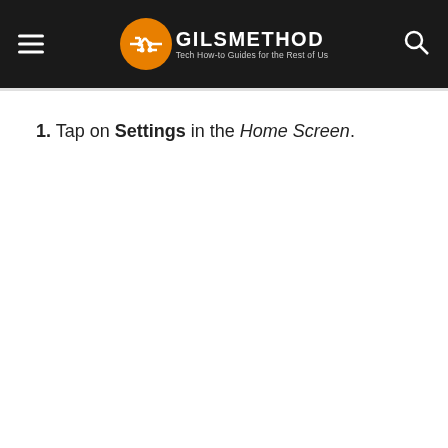GILSMETHOD — Tech How-to Guides for the Rest of Us
1. Tap on Settings in the Home Screen.